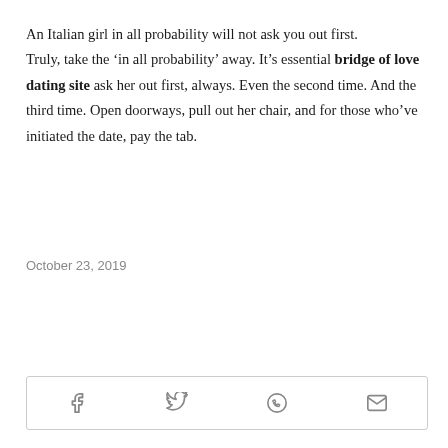An Italian girl in all probability will not ask you out first. Truly, take the ‘in all probability’ away. It’s essential bridge of love dating site ask her out first, always. Even the second time. And the third time. Open doorways, pull out her chair, and for those who’ve initiated the date, pay the tab.
October 23, 2019
[Figure (infographic): Social sharing bar with four icons: Facebook, Twitter, WhatsApp, and Email (envelope)]